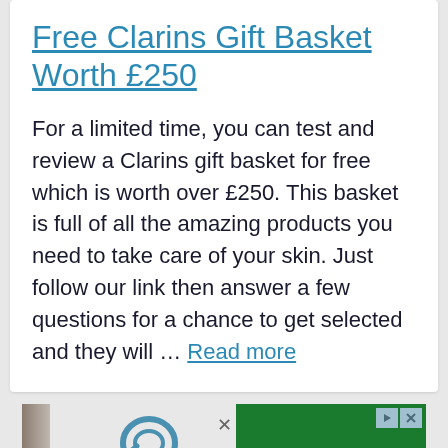Free Clarins Gift Basket Worth £250
For a limited time, you can test and review a Clarins gift basket for free which is worth over £250. This basket is full of all the amazing products you need to take care of your skin. Just follow our link then answer a few questions for a chance to get selected and they will … Read more
[Figure (screenshot): Advertisement banner with a partial image of a book spine on the left, a large G logo in the center on a light gray background, and a solid green rectangle on the right. Controls (play and close buttons) are visible in the top right corner.]